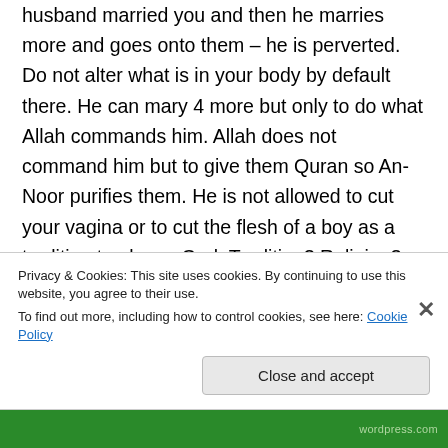husband married you and then he marries more and goes onto them – he is perverted. Do not alter what is in your body by default there. He can mary 4 more but only to do what Allah commands him. Allah does not command him but to give them Quran so An-Noor purifies them. He is not allowed to cut your vagina or to cut the flesh of a boy as a tradition to please God. Tradition? Religion? Crischan saying of commanding peace to be uppon someone?
Privacy & Cookies: This site uses cookies. By continuing to use this website, you agree to their use.
To find out more, including how to control cookies, see here: Cookie Policy
Close and accept